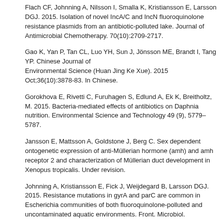Flach CF, Johnning A, Nilsson I, Smalla K, Kristiansson E, Larsson DGJ. 2015. Isolation of novel IncA/C and IncN fluoroquinolone resistance plasmids from an antibiotic-polluted lake. Journal of Antimicrobial Chemotherapy. 70(10):2709-2717.
Gao K, Yan P, Tan CL, Luo YH, Sun J, Jönsson ME, Brandt I, Tang YP. Chinese Journal of Environmental Science (Huan Jing Ke Xue). 2015 Oct;36(10):3878-83. In Chinese.
Gorokhova E, Rivetti C, Furuhagen S, Edlund A, Ek K, Breitholtz, M. 2015. Bacteria-mediated effects of antibiotics on Daphnia nutrition. Environmental Science and Technology 49 (9), 5779–5787.
Jansson E, Mattsson A, Goldstone J, Berg C. Sex dependent ontogenetic expression of anti-Müllerian hormone (amh) and amh receptor 2 and characterization of Müllerian duct development in Xenopus tropicalis. Under revision.
Johnning A, Kristiansson E, Fick J, Weijdegard B, Larsson DGJ. 2015. Resistance mutations in gyrA and parC are common in Escherichia communities of both fluoroquinolone-polluted and uncontaminated aquatic environments. Front. Microbiol.
Johnning A, Kristiansson E, Martin A, Marathe NP, Shouche YS, Johansson A, Larsson DGJ. 2015. Quinolone resistance mutations in the faecal microbiota of Swedish travellers to India. BMC Microbiology. 15:235.
Moermond C, Kase R, Korkaric M, Ågerstrand M. 2015. CRED - Criteria for Reporting and Evaluating ecotoxicity Data. Environmental Toxicology and Chemistry.